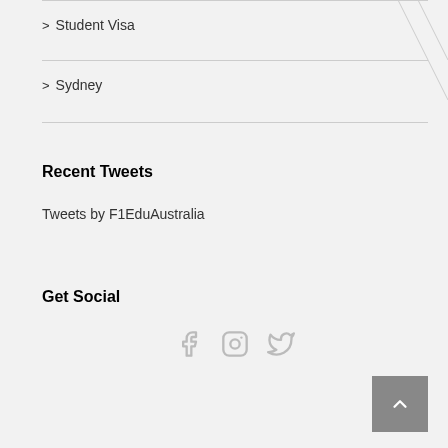> Student Visa
> Sydney
Recent Tweets
Tweets by F1EduAustralia
Get Social
[Figure (other): Social media icons: Facebook, Instagram, Twitter in light gray]